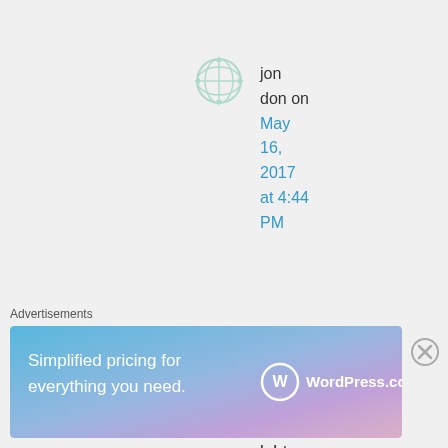[Figure (illustration): Avatar/user icon — a light teal/mint colored compass-rose or grid-sphere icon]
jon don on May 16, 2017 at 4:44 PM
the lgbt cause advanced becau
Advertisements
[Figure (other): WordPress.com advertisement banner: 'Simplified pricing for everything you need.' with WordPress.com logo on gradient background]